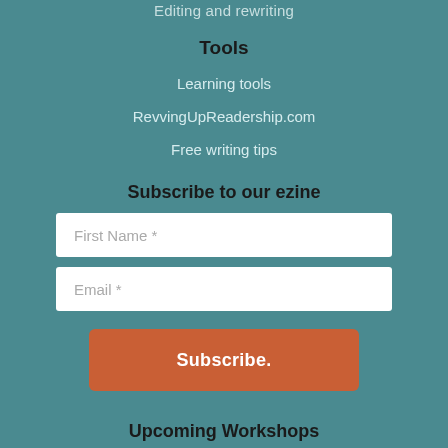Editing and rewriting
Tools
Learning tools
RevvingUpReadership.com
Free writing tips
Subscribe to our ezine
First Name *
Email *
Subscribe.
Upcoming Workshops